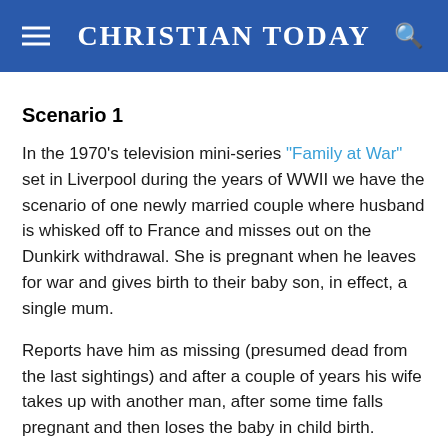CHRISTIAN TODAY
Scenario 1
In the 1970's television mini-series "Family at War" set in Liverpool during the years of WWII we have the scenario of one newly married couple where husband is whisked off to France and misses out on the Dunkirk withdrawal. She is pregnant when he leaves for war and gives birth to their baby son, in effect, a single mum.
Reports have him as missing (presumed dead from the last sightings) and after a couple of years his wife takes up with another man, after some time falls pregnant and then loses the baby in child birth.